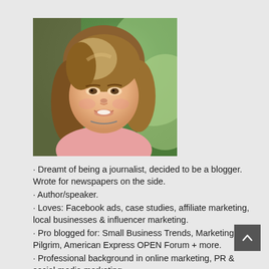[Figure (photo): Headshot of a smiling woman with medium-length brown/blonde hair wearing a pink top, photographed outdoors with green foliage background.]
· Dreamt of being a journalist, decided to be a blogger. Wrote for newspapers on the side.
· Author/speaker.
· Loves: Facebook ads, case studies, affiliate marketing, local businesses & influencer marketing.
· Pro blogged for: Small Business Trends, Marketing Pilgrim, American Express OPEN Forum + more.
· Professional background in online marketing, PR & social media marketing.
· I connect bloggers with national brands (including